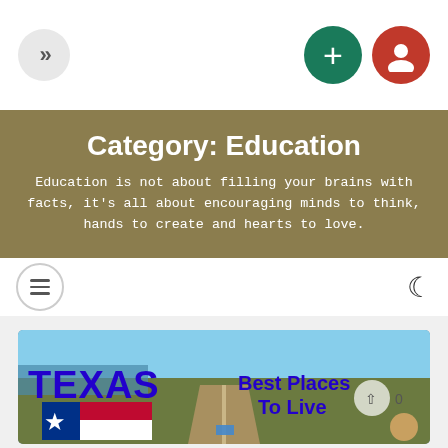»  [plus button] [user button]
Category: Education
Education is not about filling your brains with facts, it's all about encouraging minds to think, hands to create and hearts to love.
[hamburger menu] [moon/dark-mode icon]
[Figure (photo): A thumbnail image showing Texas best places to live — blue text 'TEXAS' on the left, 'Best Places To Live' on the right, with an aerial road photo through Texas grasslands and a Texas state flag shape overlay in the lower left corner.]